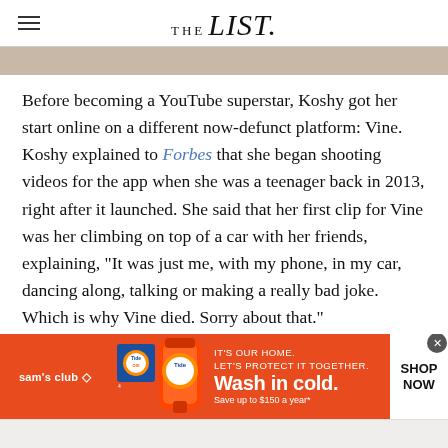THE list
[Figure (photo): Partial image strip showing a person, cropped at top of content area]
Before becoming a YouTube superstar, Koshy got her start online on a different now-defunct platform: Vine. Koshy explained to Forbes that she began shooting videos for the app when she was a teenager back in 2013, right after it launched. She said that her first clip for Vine was her climbing on top of a car with her friends, explaining, "It was just me, with my phone, in my car, dancing along, talking or making a really bad joke. Which is why Vine died. Sorry about that."
[Figure (screenshot): Sam's Club advertisement banner with Tide detergent. Orange background. Text: IT'S OUR HOME. LET'S PROTECT IT TOGETHER. Wash in cold. Save up to $150 a year*. SHOP NOW button.]